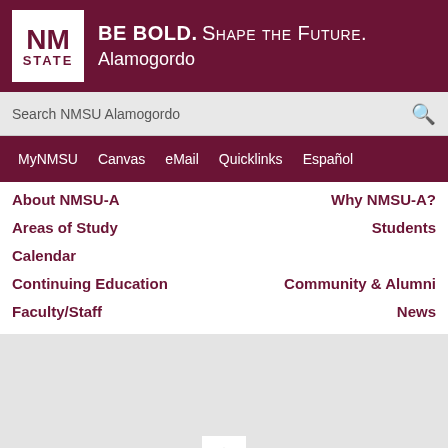BE BOLD. Shape the Future. Alamogordo
Search NMSU Alamogordo
MyNMSU
Canvas
eMail
Quicklinks
Español
About NMSU-A
Why NMSU-A?
Areas of Study
Students
Calendar
Continuing Education
Community & Alumni
Faculty/Staff
News
[Figure (screenshot): Loading spinner icon on light gray background area]